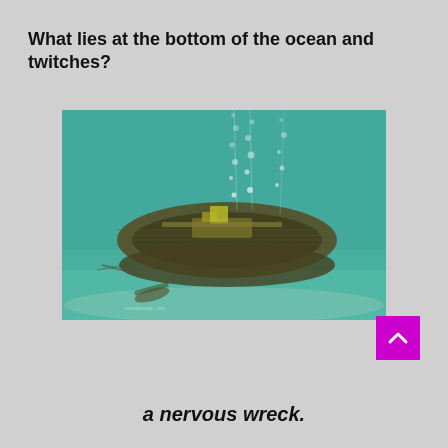What lies at the bottom of the ocean and twitches?
[Figure (illustration): Underwater illustration of a shipwreck resting on the ocean floor, viewed from above at an angle. The ship hull is dark brown/green with visible deck structures. Bubbles rise from the wreck toward the surface. The ocean floor is sandy and the water has a teal/green tint.]
a nervous wreck.